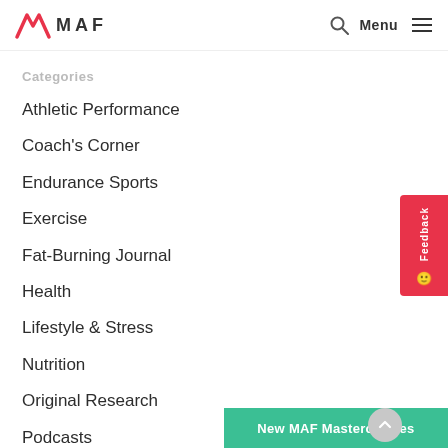MAF — Menu
Categories
Athletic Performance
Coach's Corner
Endurance Sports
Exercise
Fat-Burning Journal
Health
Lifestyle & Stress
Nutrition
Original Research
Podcasts
Spanish